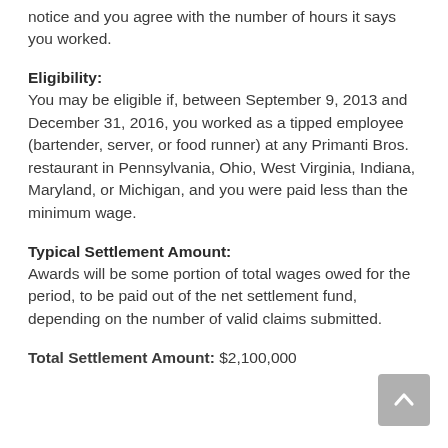notice and you agree with the number of hours it says you worked.
Eligibility:
You may be eligible if, between September 9, 2013 and December 31, 2016, you worked as a tipped employee (bartender, server, or food runner) at any Primanti Bros. restaurant in Pennsylvania, Ohio, West Virginia, Indiana, Maryland, or Michigan, and you were paid less than the minimum wage.
Typical Settlement Amount:
Awards will be some portion of total wages owed for the period, to be paid out of the net settlement fund, depending on the number of valid claims submitted.
Total Settlement Amount: $2,100,000